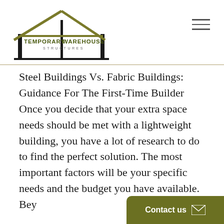[Figure (logo): Temporary Warehouse Structures logo with building outline silhouette in black and olive/gold roof lines, company name in dark olive text]
Steel Buildings Vs. Fabric Buildings: Guidance For The First-Time Builder Once you decide that your extra space needs should be met with a lightweight building, you have a lot of research to do to find the perfect solution. The most important factors will be your specific needs and the budget you have available. Bey